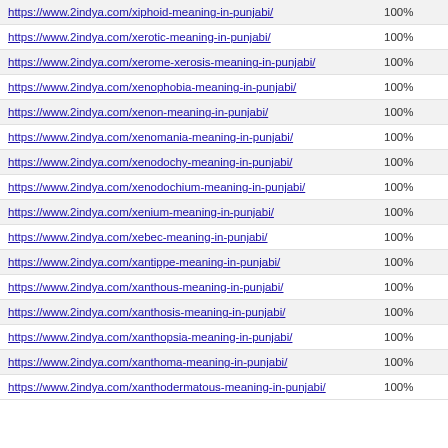| URL | Score |
| --- | --- |
| https://www.2indya.com/xiphoid-meaning-in-punjabi/ | 100% |
| https://www.2indya.com/xerotic-meaning-in-punjabi/ | 100% |
| https://www.2indya.com/xerome-xerosis-meaning-in-punjabi/ | 100% |
| https://www.2indya.com/xenophobia-meaning-in-punjabi/ | 100% |
| https://www.2indya.com/xenon-meaning-in-punjabi/ | 100% |
| https://www.2indya.com/xenomania-meaning-in-punjabi/ | 100% |
| https://www.2indya.com/xenodochy-meaning-in-punjabi/ | 100% |
| https://www.2indya.com/xenodochium-meaning-in-punjabi/ | 100% |
| https://www.2indya.com/xenium-meaning-in-punjabi/ | 100% |
| https://www.2indya.com/xebec-meaning-in-punjabi/ | 100% |
| https://www.2indya.com/xantippe-meaning-in-punjabi/ | 100% |
| https://www.2indya.com/xanthous-meaning-in-punjabi/ | 100% |
| https://www.2indya.com/xanthosis-meaning-in-punjabi/ | 100% |
| https://www.2indya.com/xanthopsia-meaning-in-punjabi/ | 100% |
| https://www.2indya.com/xanthoma-meaning-in-punjabi/ | 100% |
| https://www.2indya.com/xanthodermatous-meaning-in-punjabi/ | 100% |